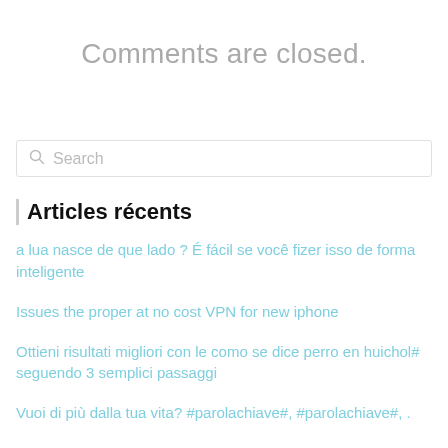Comments are closed.
Search
Articles récents
a lua nasce de que lado ? É fácil se você fizer isso de forma inteligente
Issues the proper at no cost VPN for new iphone
Ottieni risultati migliori con le como se dice perro en huichol# seguendo 3 semplici passaggi
Vuoi di più dalla tua vita? #parolachiave#, #parolachiave#, .